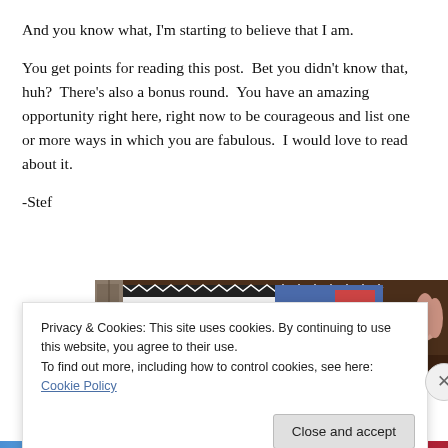And you know what, I'm starting to believe that I am.
You get points for reading this post.  Bet you didn't know that, huh?  There's also a bonus round.  You have an amazing opportunity right here, right now to be courageous and list one or more ways in which you are fabulous.  I would love to read about it.
-Stef
[Figure (photo): Partial photo showing what appears to be a book or notebook with a decorative border, on a dark desk surface, with a hand visible at right edge.]
Privacy & Cookies: This site uses cookies. By continuing to use this website, you agree to their use.
To find out more, including how to control cookies, see here: Cookie Policy
Close and accept